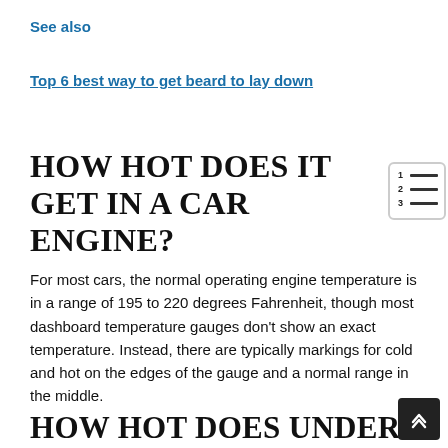See also
Top 6 best way to get beard to lay down
HOW HOT DOES IT GET IN A CAR ENGINE?
For most cars, the normal operating engine temperature is in a range of 195 to 220 degrees Fahrenheit, though most dashboard temperature gauges don't show an exact temperature. Instead, there are typically markings for cold and hot on the edges of the gauge and a normal range in the middle.
HOW HOT DOES UNDER THE